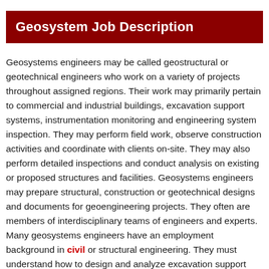Geosystem Job Description
Geosystems engineers may be called geostructural or geotechnical engineers who work on a variety of projects throughout assigned regions. Their work may primarily pertain to commercial and industrial buildings, excavation support systems, instrumentation monitoring and engineering system inspection. They may perform field work, observe construction activities and coordinate with clients on-site. They may also perform detailed inspections and conduct analysis on existing or proposed structures and facilities. Geosystems engineers may prepare structural, construction or geotechnical designs and documents for geoengineering projects. They often are members of interdisciplinary teams of engineers and experts. Many geosystems engineers have an employment background in civil or structural engineering. They must understand how to design and analyze excavation support systems, deep foundations, geoengineering projects and structural facilities.